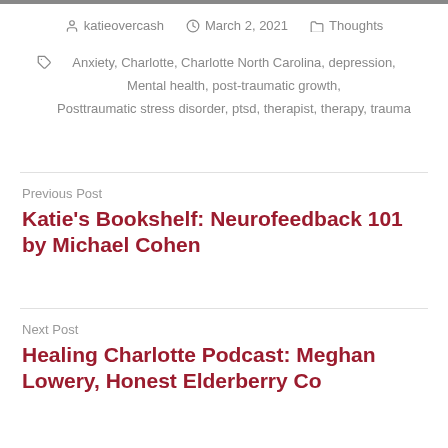katieovercash  March 2, 2021  Thoughts
Anxiety, Charlotte, Charlotte North Carolina, depression, Mental health, post-traumatic growth, Posttraumatic stress disorder, ptsd, therapist, therapy, trauma
Previous Post
Katie's Bookshelf: Neurofeedback 101 by Michael Cohen
Next Post
Healing Charlotte Podcast: Meghan Lowery, Honest Elderberry Co